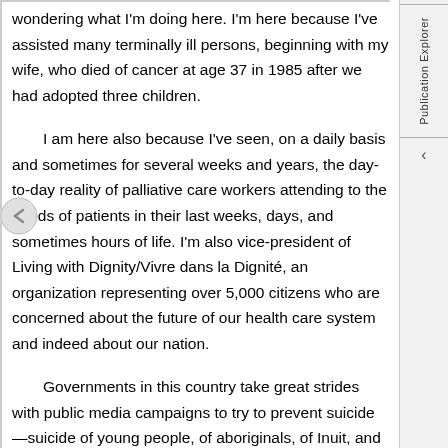wondering what I'm doing here. I'm here because I've assisted many terminally ill persons, beginning with my wife, who died of cancer at age 37 in 1985 after we had adopted three children.
I am here also because I've seen, on a daily basis and sometimes for several weeks and years, the day-to-day reality of palliative care workers attending to the needs of patients in their last weeks, days, and sometimes hours of life. I'm also vice-president of Living with Dignity/Vivre dans la Dignité, an organization representing over 5,000 citizens who are concerned about the future of our health care system and indeed about our nation.
Governments in this country take great strides with public media campaigns to try to prevent suicide—suicide of young people, of aboriginals, of Inuit, and unfortunately